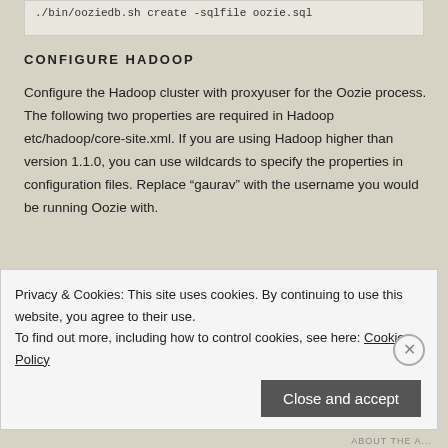[Figure (screenshot): Code snippet showing: ./bin/ooziedb.sh create -sqlfile oozie.sql]
CONFIGURE HADOOP
Configure the Hadoop cluster with proxyuser for the Oozie process. The following two properties are required in Hadoop etc/hadoop/core-site.xml. If you are using Hadoop higher than version 1.1.0, you can use wildcards to specify the properties in configuration files. Replace “gaurav” with the username you would be running Oozie with.
[Figure (screenshot): Code block showing XML: <property> <name>hadoop.proxyuser.gaurav.hosts</name> <value>*</value>]
Privacy & Cookies: This site uses cookies. By continuing to use this website, you agree to their use.
To find out more, including how to control cookies, see here: Cookie Policy